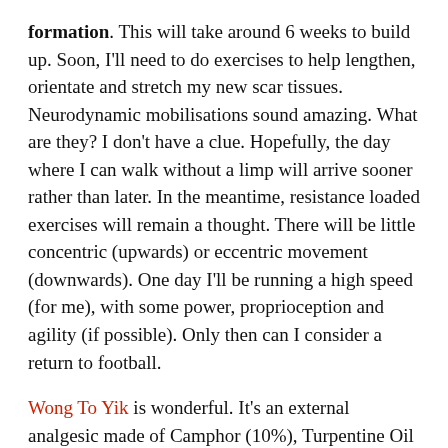formation. This will take around 6 weeks to build up. Soon, I'll need to do exercises to help lengthen, orientate and stretch my new scar tissues. Neurodynamic mobilisations sound amazing. What are they? I don't have a clue. Hopefully, the day where I can walk without a limp will arrive sooner rather than later. In the meantime, resistance loaded exercises will remain a thought. There will be little concentric (upwards) or eccentric movement (downwards). One day I'll be running a high speed (for me), with some power, proprioception and agility (if possible). Only then can I consider a return to football.
Wong To Yik is wonderful. It's an external analgesic made of Camphor (10%), Turpentine Oil (12%), Menthol (16%) and Methyl Salicylate C8H8O3 (50%). The remaining 12% is a mystery but I read somewhere that there is an inactive ingredient in Lavender Oil and lime…(??…for obvious reasons)